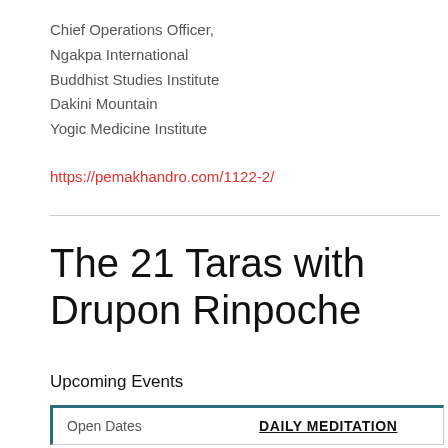Chief Operations Officer,
Ngakpa International
Buddhist Studies Institute
Dakini Mountain
Yogic Medicine Institute
https://pemakhandro.com/1122-2/
The 21 Taras with Drupon Rinpoche
Upcoming Events
| Open Dates | DAILY MEDITATION |
| --- | --- |